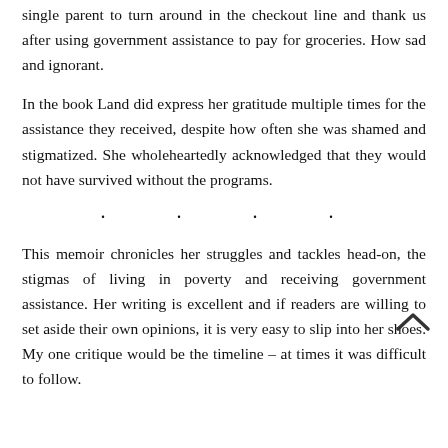single parent to turn around in the checkout line and thank us after using government assistance to pay for groceries. How sad and ignorant.
In the book Land did express her gratitude multiple times for the assistance they received, despite how often she was shamed and stigmatized. She wholeheartedly acknowledged that they would not have survived without the programs.
· · · ·
This memoir chronicles her struggles and tackles head-on, the stigmas of living in poverty and receiving government assistance. Her writing is excellent and if readers are willing to set aside their own opinions, it is very easy to slip into her shoes. My one critique would be the timeline – at times it was difficult to follow.